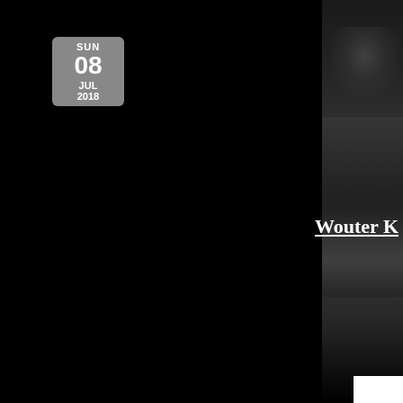[Figure (photo): Dark/black background page with a partially visible black and white photograph on the right edge showing a person or figure. Contains a calendar date badge showing SUN 08 JUL 2018 and a name label starting with 'Wouter K'. A small white rectangle is visible in the bottom right corner.]
SUN
08
JUL
2018
Wouter K